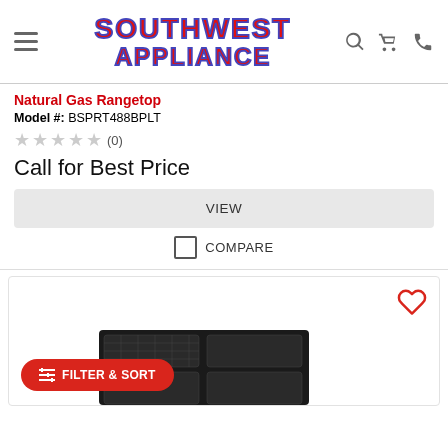[Figure (logo): Southwest Appliance logo with red text and blue outline, hamburger menu icon, search icon, cart icon, phone icon in header]
Natural Gas Rangetop
Model #: BSPRT488BPLT
★★★★★ (0)
Call for Best Price
VIEW
COMPARE
[Figure (photo): Bottom portion of a second product card showing a gas rangetop appliance with black grates, a red Filter & Sort button, and a heart/wishlist icon]